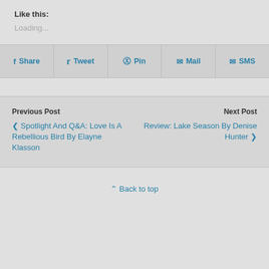Like this:
Loading...
Share  Tweet  Pin  Mail  SMS
Previous Post
< Spotlight And Q&A: Love Is A Rebellious Bird By Elayne Klasson
Next Post
Review: Lake Season By Denise Hunter >
^ Back to top